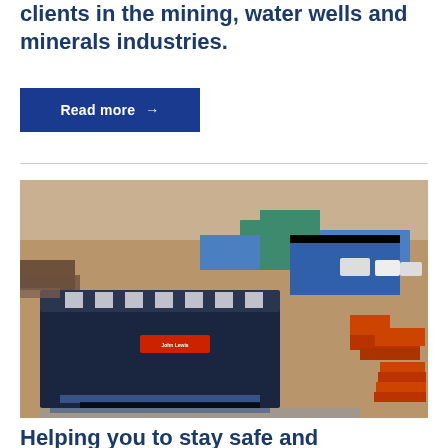clients in the mining, water wells and minerals industries.
Read more →
[Figure (photo): Aerial drone view of an industrial facility with a large dark navy blue warehouse/factory building prominently in the foreground labeled 'John Lewis' or similar, surrounded by an open yard with heavy equipment, steel pipes, and vehicles. Blue-roofed buildings visible in the background.]
Helping you to stay safe and